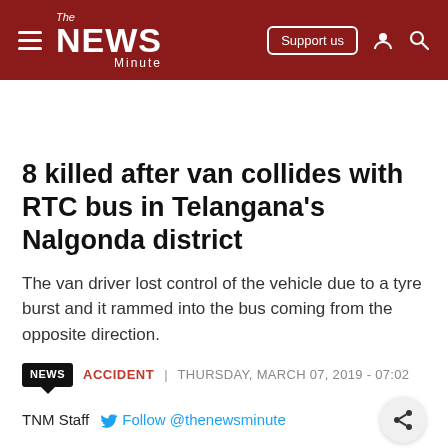The News Minute — Support us
8 killed after van collides with RTC bus in Telangana's Nalgonda district
The van driver lost control of the vehicle due to a tyre burst and it rammed into the bus coming from the opposite direction.
NEWS  ACCIDENT | THURSDAY, MARCH 07, 2019 - 07:02
TNM Staff  Follow @thenewsminute
Eight people were killed and seven injured in a van-